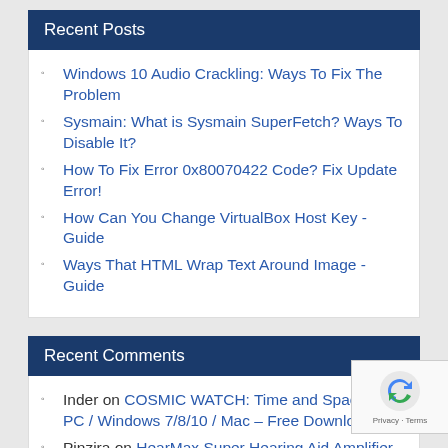Recent Posts
Windows 10 Audio Crackling: Ways To Fix The Problem
Sysmain: What is Sysmain SuperFetch? Ways To Disable It?
How To Fix Error 0x80070422 Code? Fix Update Error!
How Can You Change VirtualBox Host Key -Guide
Ways That HTML Wrap Text Around Image -Guide
Recent Comments
Inder on COSMIC WATCH: Time and Space For PC / Windows 7/8/10 / Mac – Free Download
Pinzira on HearMax Super Hearing Aid Amplifier PC / Windows 7/8/10 / Mac – Free Download
Jeremiah Agware on Snake juibe WWE For PC /